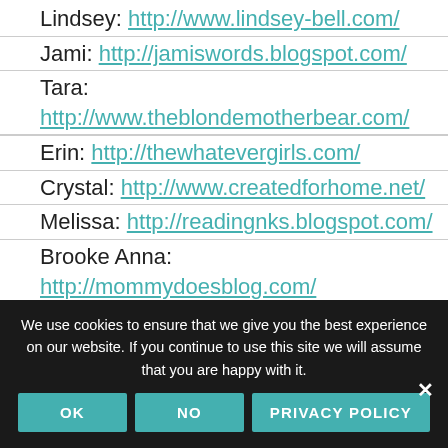Lindsey: http://www.lindsey-bell.com/
Jami: http://jamiswords.blogspot.com/
Tara: http://www.theblondemotherbear.com/
Erin: http://thewhatevergirls.com/
Crystal: http://www.createdforhome.net/
Melissa: http://readingnks.blogspot.com/
Brooke Anna: http://mommydoesblog.com/
Crystal(2): http://www.servingjoyfully.com
Kalvn:
We use cookies to ensure that we give you the best experience on our website. If you continue to use this site we will assume that you are happy with it.